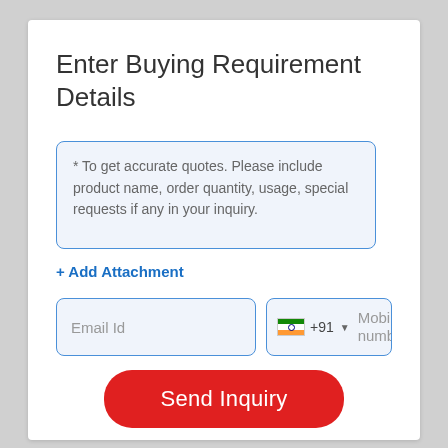Enter Buying Requirement Details
* To get accurate quotes. Please include product name, order quantity, usage, special requests if any in your inquiry.
+ Add Attachment
Email Id
+91  Mobile number
Send Inquiry